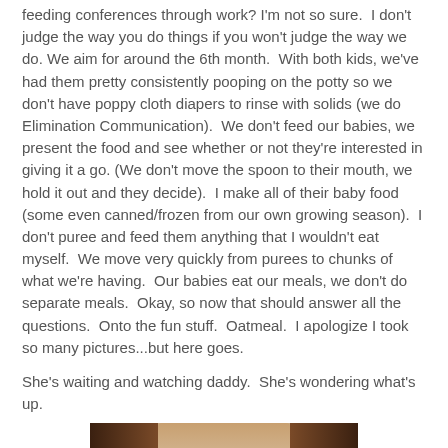feeding conferences through work? I'm not so sure.  I don't judge the way you do things if you won't judge the way we do. We aim for around the 6th month.  With both kids, we've had them pretty consistently pooping on the potty so we don't have poppy cloth diapers to rinse with solids (we do Elimination Communication).  We don't feed our babies, we present the food and see whether or not they're interested in giving it a go. (We don't move the spoon to their mouth, we hold it out and they decide).  I make all of their baby food (some even canned/frozen from our own growing season).  I don't puree and feed them anything that I wouldn't eat myself.  We move very quickly from purees to chunks of what we're having.  Our babies eat our meals, we don't do separate meals.  Okay, so now that should answer all the questions.  Onto the fun stuff.  Oatmeal.  I apologize I took so many pictures...but here goes.
She's waiting and watching daddy.  She's wondering what's up.
[Figure (photo): A close-up photo of a baby, showing the top of their head. Dark wooden elements visible on left and right sides of the frame.]